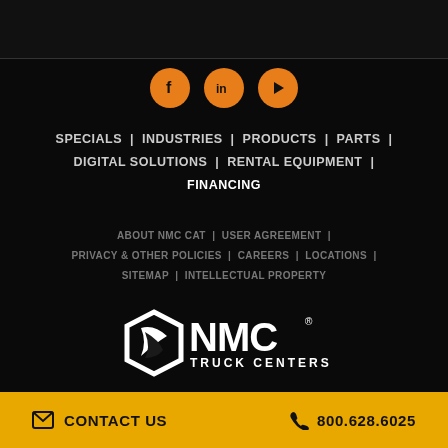[Figure (logo): Social media icons: Facebook, LinkedIn, YouTube - orange circles]
SPECIALS | INDUSTRIES | PRODUCTS | PARTS | DIGITAL SOLUTIONS | RENTAL EQUIPMENT | FINANCING
ABOUT NMC CAT | USER AGREEMENT | PRIVACY & OTHER POLICIES | CAREERS | LOCATIONS | SITEMAP | INTELLECTUAL PROPERTY
[Figure (logo): NMC Truck Centers logo - white hexagonal icon and NMC wordmark with TRUCK CENTERS text]
✉ CONTACT US     ✆ 800.628.6025